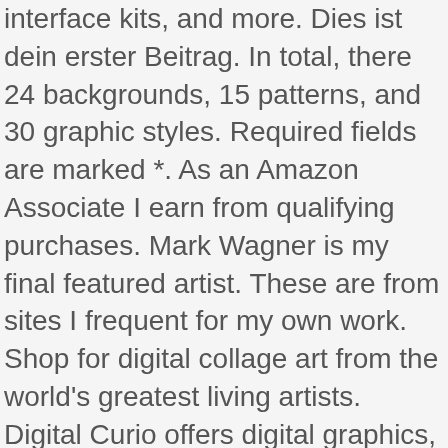interface kits, and more. Dies ist dein erster Beitrag. In total, there 24 backgrounds, 15 patterns, and 30 graphic styles. Required fields are marked *. As an Amazon Associate I earn from qualifying purchases. Mark Wagner is my final featured artist. These are from sites I frequent for my own work. Shop for digital collage art from the world's greatest living artists. Digital Curio offers digital graphics, add-ons for personal and commercial use. There is a quick way to create a digital collage on FREEMIX (Note: Freemix is an old online app (currently being updated) with some glitches. And if you have a graphic design project and you want to partner with Anugraha Design, you can find their contact information here and send them a message. You should also check out her blog for design tips and free products. You can find her other products on the Creative Market Shop or her website. Cecil Touchon Founder of the International Museum of Collage and founder of the International Society of Assemblage and Collage Artists. Send me an email or message! He has been creating digital products for seven years, and he's been working full-time on the Creative Market platform for